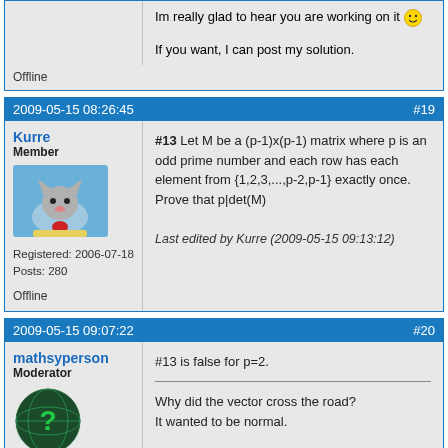Im really glad to hear you are working on it :) If you want, I can post my solution.
Offline
2009-05-15 08:26:45   #19
Kurre
Member
Registered: 2006-07-18
Posts: 280
Offline
#13 Let M be a (p-1)x(p-1) matrix where p is an odd prime number and each row has each element from {1,2,3,...,p-2,p-1} exactly once. Prove that p|det(M)

Last edited by Kurre (2009-05-15 09:13:12)
2009-05-15 09:07:22   #20
mathsyperson
Moderator
Registered: 2005-06-22
Posts: 4,900
#13 is false for p=2.

Why did the vector cross the road? It wanted to be normal.